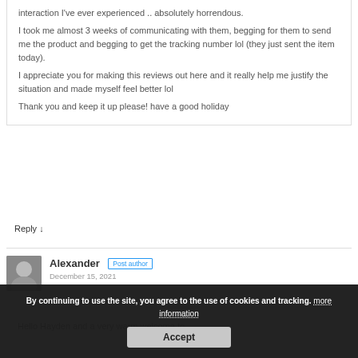interaction I've ever experienced .. absolutely horrendous.

I took me almost 3 weeks of communicating with them, begging for them to send me the product and begging to get the tracking number lol (they just sent the item today).

I appreciate you for making this reviews out here and it really help me justify the situation and made myself feel better lol

Thank you and keep it up please! have a good holiday
Reply ↓
Alexander   Post author
December 15, 2021
Hello Hayden and a very warm welcome to
By continuing to use the site, you agree to the use of cookies and tracking. more information
Accept